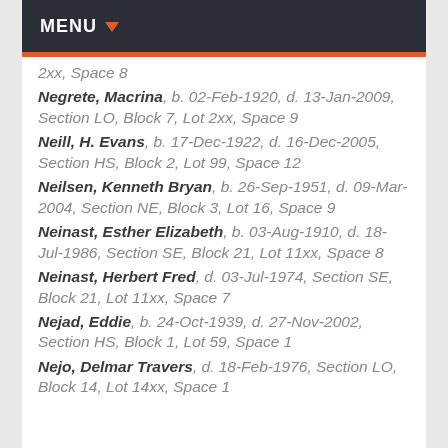MENU
2xx, Space 8
Negrete, Macrina, b. 02-Feb-1920, d. 13-Jan-2009, Section LO, Block 7, Lot 2xx, Space 9
Neill, H. Evans, b. 17-Dec-1922, d. 16-Dec-2005, Section HS, Block 2, Lot 99, Space 12
Neilsen, Kenneth Bryan, b. 26-Sep-1951, d. 09-Mar-2004, Section NE, Block 3, Lot 16, Space 9
Neinast, Esther Elizabeth, b. 03-Aug-1910, d. 18-Jul-1986, Section SE, Block 21, Lot 11xx, Space 8
Neinast, Herbert Fred, d. 03-Jul-1974, Section SE, Block 21, Lot 11xx, Space 7
Nejad, Eddie, b. 24-Oct-1939, d. 27-Nov-2002, Section HS, Block 1, Lot 59, Space 1
Nejo, Delmar Travers, d. 18-Feb-1976, Section LO, Block 14, Lot 14xx, Space 1